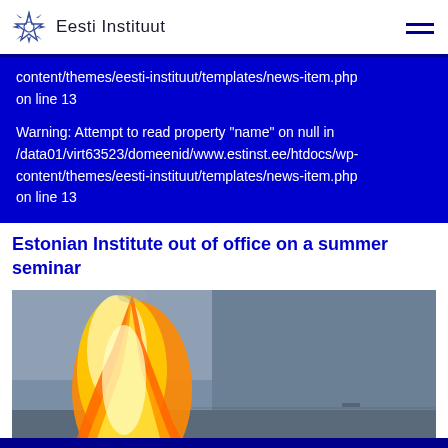Eesti Instituut
content/themes/eesti-instituut/templates/news-item.php on line 13

Warning: Attempt to read property "name" on null in /data01/virt63523/domeenid/www.estinst.ee/htdocs/wp-content/themes/eesti-instituut/templates/news-item.php on line 13
Estonian Institute out of office on a summer seminar
[Figure (photo): Outdoor fire/bonfire burning against a dusky sky, large flames visible on left side of frame]